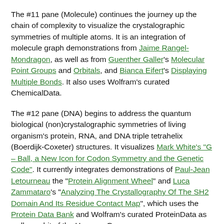The #11 pane (Molecule) continues the journey up the chain of complexity to visualize the crystalographic symmetries of multiple atoms. It is an integration of molecule graph demonstrations from Jaime Rangel-Mondragon, as well as from Guenther Galler's Molecular Point Groups and Orbitals, and Bianca Eifert's Displaying Multiple Bonds. It also uses Wolfram's curated ChemicalData.
The #12 pane (DNA) begins to address the quantum biological (non)crystalographic symmetries of living organism's protein, RNA, and DNA triple tetrahelix (Boerdijk-Coxeter) structures. It visualizes Mark White's "G – Ball, a New Icon for Codon Symmetry and the Genetic Code". It currently integrates demonstrations of Paul-Jean Letourneau the "Protein Alignment Wheel" and Luca Zammataro's "Analyzing The Crystallography Of The SH2 Domain And Its Residue Contact Map", which uses the Protein Data Bank and Wolfram's curated ProteinData as well as a bit of the Humane Genome